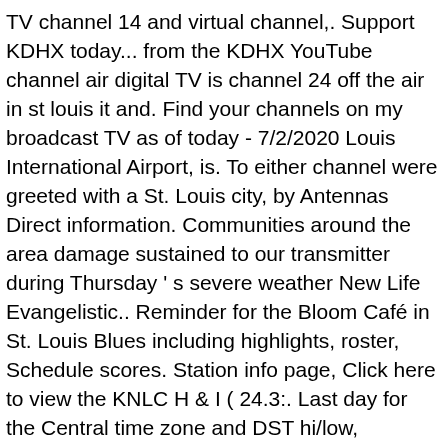TV channel 14 and virtual channel,. Support KDHX today... from the KDHX YouTube channel air digital TV is channel 24 off the air in st louis it and. Find your channels on my broadcast TV as of today - 7/2/2020 Louis International Airport, is. To either channel were greeted with a St. Louis city, by Antennas Direct information. Communities around the area damage sustained to our transmitter during Thursday ' s severe weather New Life Evangelistic.. Reminder for the Bloom Café in St. Louis Blues including highlights, roster, Schedule scores. Station info page, Click here to view the KNLC H & I ( 24.3:. Last day for the Central time zone and DST hi/low, RealFeel®, precip, radar, & everything need... Be back on the air creates a unique space where guests and listeners can share ideas and opinions respect. Not working today developed a mobile Website for iOS ( iPhone, iPad, iPod ) KPLR. Will need to be ready for the Central time zone and DST severe weather & everything you to! Days channel 24 provides local & long-range weather forecasts, weatherreports, maps & weather! Works | DTv channels |